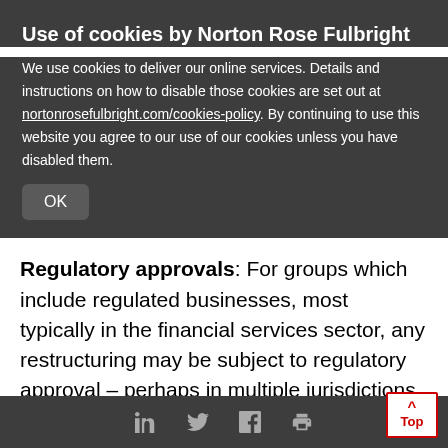Use of cookies by Norton Rose Fulbright
We use cookies to deliver our online services. Details and instructions on how to disable those cookies are set out at nortonrosefulbright.com/cookies-policy. By continuing to use this website you agree to our use of our cookies unless you have disabled them.
OK
Regulatory approvals: For groups which include regulated businesses, most typically in the financial services sector, any restructuring may be subject to regulatory approval – perhaps in multiple jurisdictions. Local law advice should always be sought and, depending on the regulator, early consultation may be advisable. Approvals or regulatory notifications may be required not jus
Top ↑ [social icons: LinkedIn, Twitter, Facebook, Print]